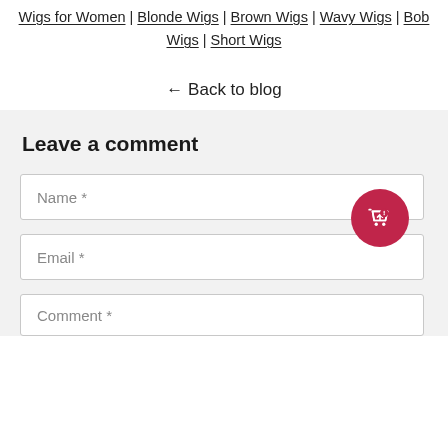Wigs for Women | Blonde Wigs | Brown Wigs | Wavy Wigs | Bob Wigs | Short Wigs
← Back to blog
Leave a comment
Name *
Email *
Comment *